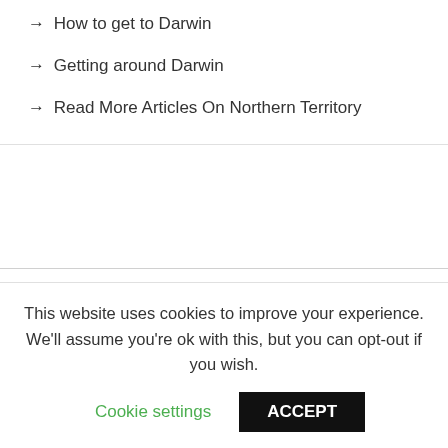→ How to get to Darwin
→ Getting around Darwin
→ Read More Articles On Northern Territory
With its view over the Timor Sea, Darwin is Australia's only tropical city. It is closer to Asia than it is to Sydney and there is a distinct smell of lemongrass and coriander in the air. There are also some fabulous south-
This website uses cookies to improve your experience. We'll assume you're ok with this, but you can opt-out if you wish.
Cookie settings
ACCEPT